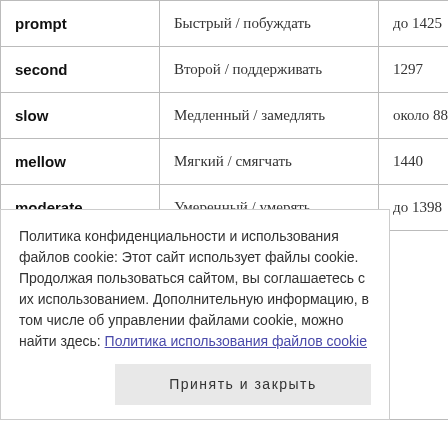|  | Translation | Frequency |
| --- | --- | --- |
| prompt | Быстрый / побуждать | до 1425 |
| second | Второй / поддерживать | 1297 |
| slow | Медленный / замедлять | около 888 |
| mellow | Мягкий / смягчать | 1440 |
| moderate | Умеренный / умерять | до 1398 |
Политика конфиденциальности и использования файлов cookie: Этот сайт использует файлы cookie. Продолжая пользоваться сайтом, вы соглашаетесь с их использованием. Дополнительную информацию, в том числе об управлении файлами cookie, можно найти здесь: Политика использования файлов cookie